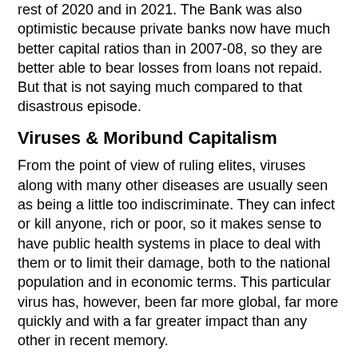rest of 2020 and in 2021. The Bank was also optimistic because private banks now have much better capital ratios than in 2007-08, so they are better able to bear losses from loans not repaid. But that is not saying much compared to that disastrous episode.
Viruses & Moribund Capitalism
From the point of view of ruling elites, viruses along with many other diseases are usually seen as being a little too indiscriminate. They can infect or kill anyone, rich or poor, so it makes sense to have public health systems in place to deal with them or to limit their damage, both to the national population and in economic terms. This particular virus has, however, been far more global, far more quickly and with a far greater impact than any other in recent memory.
The big, rich countries were well aware of the risk of pandemics, often had specialist teams of scientists to study and monitor them, and also supported international health institutions. This should make shocking the British and US delays and incompetence in dealing with the latest virus. But it is not much of a surprise when you examine the political